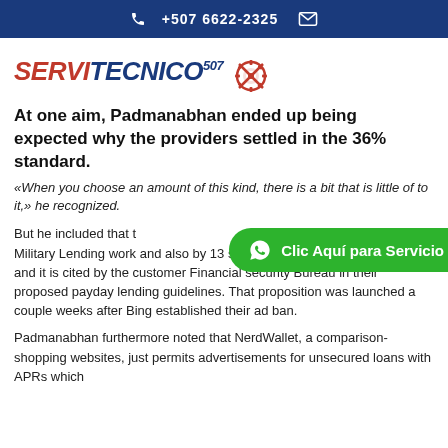+507 6622-2325
[Figure (logo): ServiTecnico 507 logo with gear icon in red and navy blue italic text]
At one aim, Padmanabhan ended up being expected why the providers settled in the 36% standard.
«When you choose an amount of this kind, there is a bit that is little of to it,» he recognized.
But he included that the 36% rate cap adopted when you look at the Military Lending work and also by 13 states and the region of Columbia, and it is cited by the customer Financial security Bureau in their proposed payday lending guidelines. That proposition was launched a couple weeks after Bing established their ad ban.
Padmanabhan furthermore noted that NerdWallet, a comparison-shopping websites, just permits advertisements for unsecured loans with APRs which